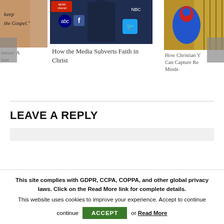[Figure (screenshot): Carousel of article cards. Left card (partial): skin/tattoo image with text 'keep the Gospel.' and title partially visible 'issues: A tian'. Middle card: image with media logos (abc, NBC, Twitter, News Channel) with dark blue toned background, title 'How the Media Subverts Faith in Christ'. Right card (partial): colorful parrot/macaw image, title partially visible 'How Christian... Can Capture Re... Minds'. Left and right navigation arrows visible.]
LEAVE A REPLY
This site complies with GDPR, CCPA, COPPA, and other global privacy laws. Click on the Read More link for complete details. This website uses cookies to improve your experience. Accept to continue
ACCEPT or Read More